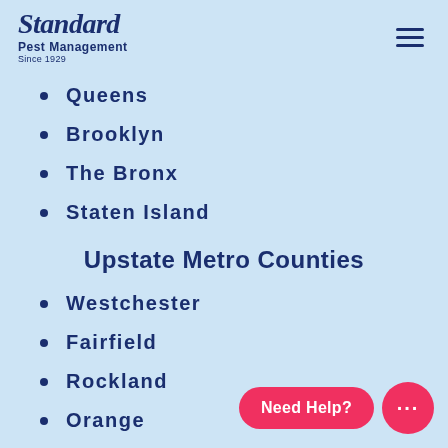Standard Pest Management Since 1929
Queens
Brooklyn
The Bronx
Staten Island
Upstate Metro Counties
Westchester
Fairfield
Rockland
Orange
Putnam